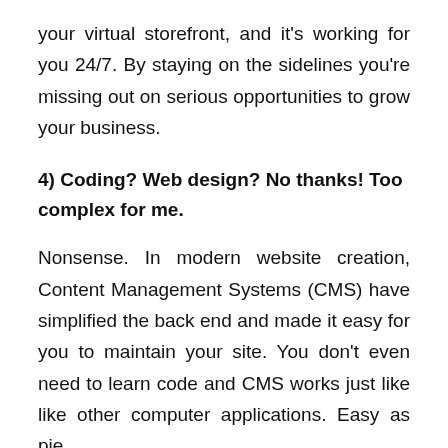your virtual storefront, and it's working for you 24/7. By staying on the sidelines you're missing out on serious opportunities to grow your business.
4) Coding? Web design? No thanks! Too complex for me.
Nonsense. In modern website creation, Content Management Systems (CMS) have simplified the back end and made it easy for you to maintain your site. You don't even need to learn code and CMS works just like like other computer applications. Easy as pie.